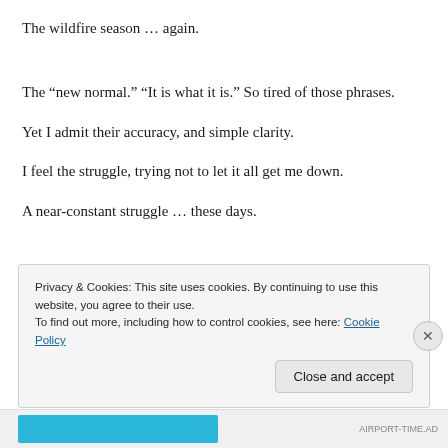The wildfire season … again.
The “new normal.” “It is what it is.” So tired of those phrases.
Yet I admit their accuracy, and simple clarity.
I feel the struggle, trying not to let it all get me down.
A near-constant struggle … these days.
Privacy & Cookies: This site uses cookies. By continuing to use this website, you agree to their use.
To find out more, including how to control cookies, see here: Cookie Policy
Close and accept